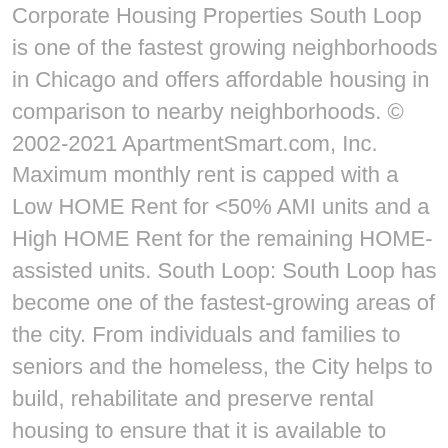Corporate Housing Properties South Loop is one of the fastest growing neighborhoods in Chicago and offers affordable housing in comparison to nearby neighborhoods. © 2002-2021 ApartmentSmart.com, Inc. Maximum monthly rent is capped with a Low HOME Rent for <50% AMI units and a High HOME Rent for the remaining HOME-assisted units. South Loop: South Loop has become one of the fastest-growing areas of the city. From individuals and families to seniors and the homeless, the City helps to build, rehabilitate and preserve rental housing to ensure that it is available to residents throughout Chicago. at an average rent of $3150. ", "-Wi-fi in all common areas *GREAT AFFORDABLE UTILITY PACKAGES AVAILABLE* DOWNTOWN APARTMENT COMPANY +Our expert service is complimentary.". And if the city of Chicago actively encourages the development of Loop housing that's within financial reach of middle-income and working-class people, there will be a built-in market for downtown shops and restaurants. Senior South Loop